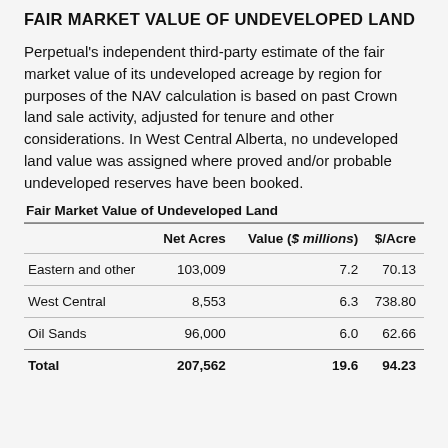FAIR MARKET VALUE OF UNDEVELOPED LAND
Perpetual's independent third-party estimate of the fair market value of its undeveloped acreage by region for purposes of the NAV calculation is based on past Crown land sale activity, adjusted for tenure and other considerations. In West Central Alberta, no undeveloped land value was assigned where proved and/or probable undeveloped reserves have been booked.
Fair Market Value of Undeveloped Land
|  | Net Acres | Value ($ millions) | $/Acre |
| --- | --- | --- | --- |
| Eastern and other | 103,009 | 7.2 | 70.13 |
| West Central | 8,553 | 6.3 | 738.80 |
| Oil Sands | 96,000 | 6.0 | 62.66 |
| Total | 207,562 | 19.6 | 94.23 |